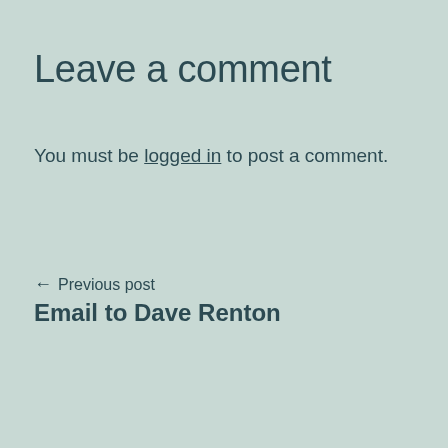Leave a comment
You must be logged in to post a comment.
← Previous post
Email to Dave Renton